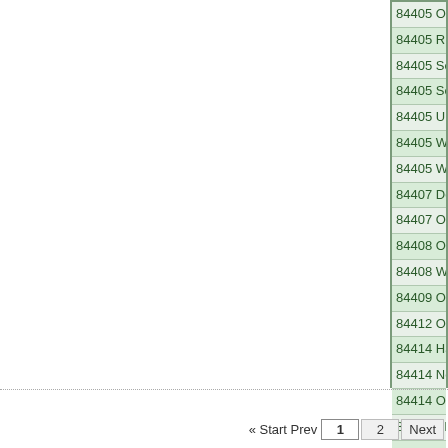84405 Ogden (
84405 Riverdale
84405 South O
84405 South W
84405 Uintah (8
84405 Washing
84405 Washing
84407 Defense
84407 Ogden (8
84408 Ogden (8
84408 Weber S
84409 Ogden (
84412 Ogden (
84414 Harrisvill
84414 North Og
84414 Ogden (8
84414 Pleasant
84415 Ogden (8
« Start Prev  1  2  Next